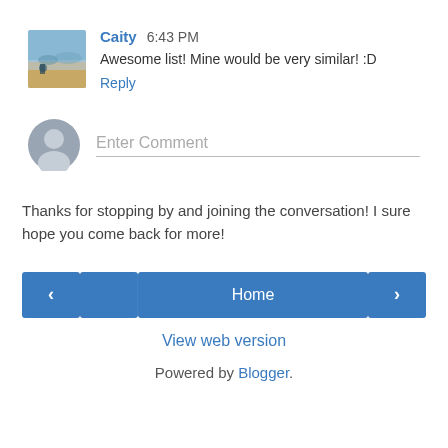[Figure (photo): User avatar thumbnail showing a beach/coastal scene with a person in the foreground]
Caity 6:43 PM
Awesome list! Mine would be very similar! :D
Reply
[Figure (illustration): Generic grey user avatar circle icon for comment input]
Enter Comment
Thanks for stopping by and joining the conversation! I sure hope you come back for more!
< Home >
View web version
Powered by Blogger.